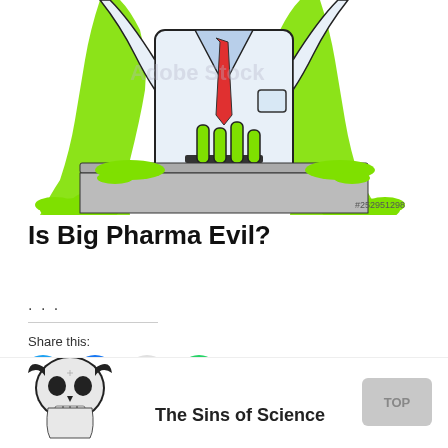[Figure (illustration): Cartoon illustration of a mad scientist in a white lab coat with a red tie, arms raised, surrounded by green slime dripping down both sides, with test tubes on a table in front. Watermark text partially visible. Stock number #252951298 in bottom right corner.]
Is Big Pharma Evil?
...
Share this:
[Figure (infographic): Social sharing buttons: Twitter (blue circle with bird icon), Facebook (blue circle with f icon), Reddit (light grey circle with alien icon), WhatsApp (green circle with phone icon)]
[Figure (illustration): Black and white detailed illustration of a skull with horns at the bottom of the page, partially visible.]
The Sins of Science